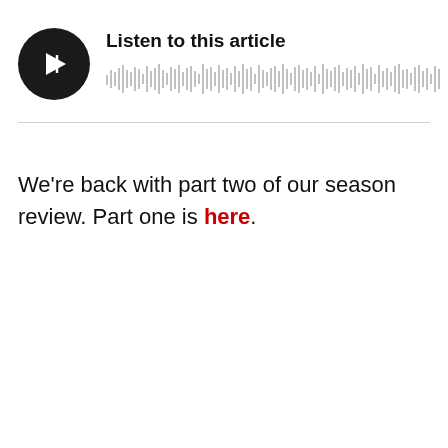[Figure (other): Audio player widget with a black circular play button icon and a waveform visualization bar. Label reads 'Listen to this article'.]
We're back with part two of our season review. Part one is here.